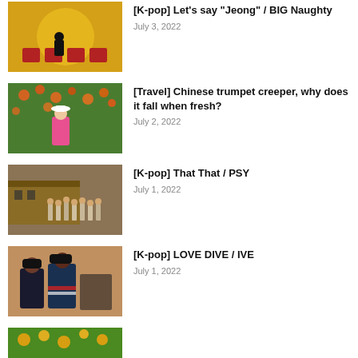[Figure (photo): Man sitting on red chairs against yellow background]
[K-pop] Let's say "Jeong" / BIG Naughty
July 3, 2022
[Figure (photo): Woman in pink outfit with white hat among orange flowers]
[Travel] Chinese trumpet creeper, why does it fall when fresh?
July 2, 2022
[Figure (photo): Group of people in western style clothing outdoors]
[K-pop] That That / PSY
July 1, 2022
[Figure (photo): K-pop group IVE members posing]
[K-pop] LOVE DIVE / IVE
July 1, 2022
[Figure (photo): Partial thumbnail of another article]